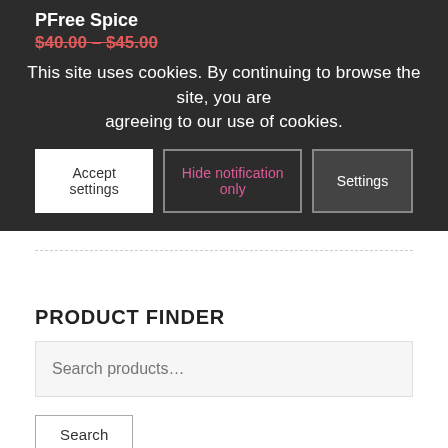PFree Spice
$40.00 – $45.00
This site uses cookies. By continuing to browse the site, you are agreeing to our use of cookies.
Accept settings | Hide notification only | Settings
PRODUCT FINDER
Search products…
Search